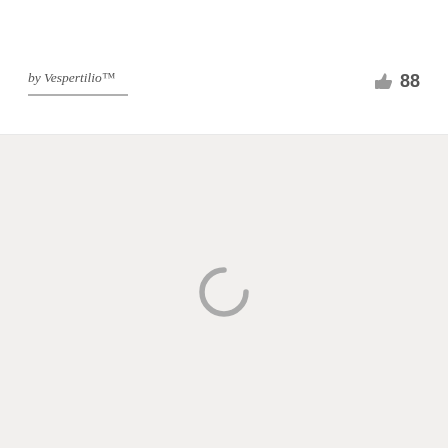[Figure (screenshot): White top band area, partially visible at top of page]
by Vespertilio™
88
[Figure (other): Large light gray content area with a loading spinner (partial circle arc) centered within it]